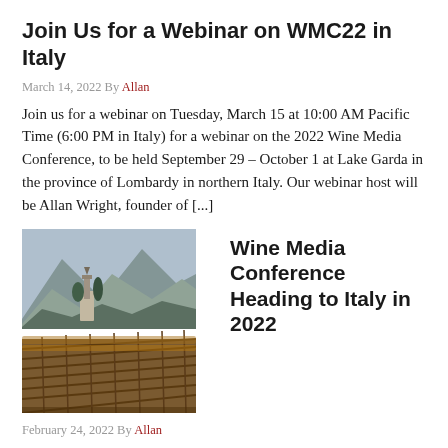Join Us for a Webinar on WMC22 in Italy
March 14, 2022 By Allan
Join us for a webinar on Tuesday, March 15 at 10:00 AM Pacific Time (6:00 PM in Italy) for a webinar on the 2022 Wine Media Conference, to be held September 29 – October 1 at Lake Garda in the province of Lombardy in northern Italy. Our webinar host will be Allan Wright, founder of [...]
[Figure (photo): Vineyard rows with a stone tower and mountains in the background, autumn foliage, Italian landscape]
Wine Media Conference Heading to Italy in 2022
February 24, 2022 By Allan